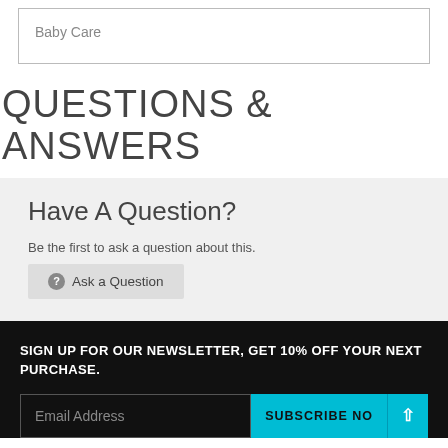| Baby Care |
QUESTIONS & ANSWERS
Have A Question?
Be the first to ask a question about this.
Ask a Question
SIGN UP FOR OUR NEWSLETTER, GET 10% OFF YOUR NEXT PURCHASE.
Email Address
SUBSCRIBE NO